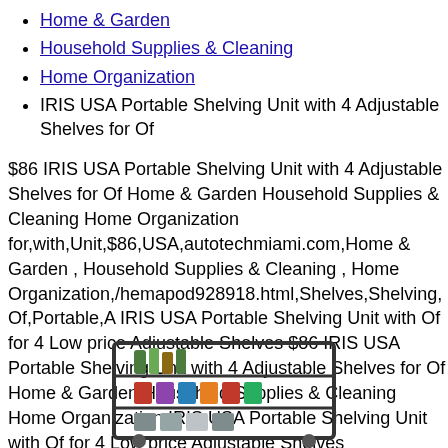Home & Garden
Household Supplies & Cleaning
Home Organization
IRIS USA Portable Shelving Unit with 4 Adjustable Shelves for Of
$86 IRIS USA Portable Shelving Unit with 4 Adjustable Shelves for Of Home & Garden Household Supplies & Cleaning Home Organization for,with,Unit,$86,USA,autotechmiami.com,Home & Garden , Household Supplies & Cleaning , Home Organization,/hemapod928918.html,Shelves,Shelving,Of,Portable,A IRIS USA Portable Shelving Unit with Of for 4 Low price Adjustable Shelves $86 IRIS USA Portable Shelving Unit with 4 Adjustable Shelves for Of Home & Garden Household Supplies & Cleaning Home Organization IRIS USA Portable Shelving Unit with Of for 4 Low price Adjustable Shelves for,with,Unit,$86,USA,autotechmiami.com,Home & Garden , Household Supplies & Cleaning , Home Organization,/hemapod928918.html,Shelves,Shelving,Of,Portable,A
[Figure (photo): Photo of a portable shelving unit with bottles and cans on the shelves]